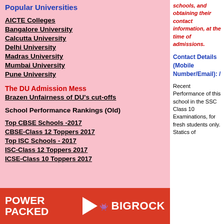Popular Universities
AICTE Colleges
Bangalore University
Calcutta University
Delhi University
Madras University
Mumbai University
Pune University
The DU Admission Mess
Brazen Unfairness of DU's cut-offs
School Performance Rankings (Old)
Top CBSE Schools -2017
CBSE-Class 12 Toppers 2017
Top ISC Schools - 2017
ISC-Class 12 Toppers 2017
ICSE-Class 10 Toppers 2017
[Figure (logo): POWER PACKED BigRock advertisement banner]
schools, and obtaining their contact information, at the time of admissions.
Contact Details (Mobile Number/Email): /
Recent Performance of this school in the SSC Class 10 Examinations, for fresh students only. Statics of